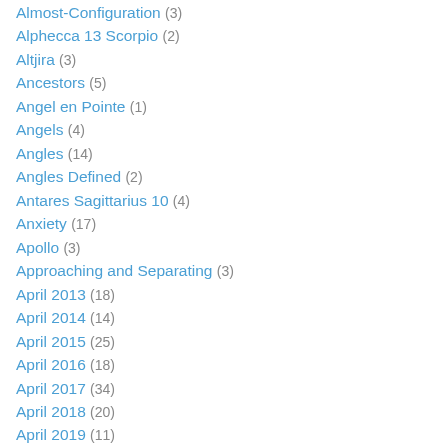Almost-Configuration (3)
Alphecca 13 Scorpio (2)
Altjira (3)
Ancestors (5)
Angel en Pointe (1)
Angels (4)
Angles (14)
Angles Defined (2)
Antares Sagittarius 10 (4)
Anxiety (17)
Apollo (3)
Approaching and Separating (3)
April 2013 (18)
April 2014 (14)
April 2015 (25)
April 2016 (18)
April 2017 (34)
April 2018 (20)
April 2019 (11)
April 2020 (28)